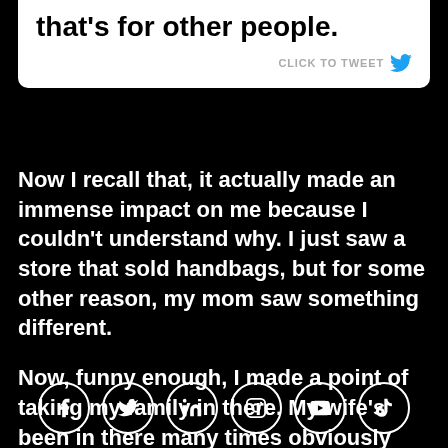that's for other people.
CLICK TO TWEET
Now I recall that, it actually made an immense impact on me because I couldn't understand why. I just saw a store that sold handbags, but for some other reason, my mom saw something different.
Now, funny enough, I made a point of taking my family in there. My wife's been in there many times obviously and none
[Figure (infographic): Social media icon buttons in a row: Facebook, Twitter, LinkedIn, Instagram, YouTube, TikTok]